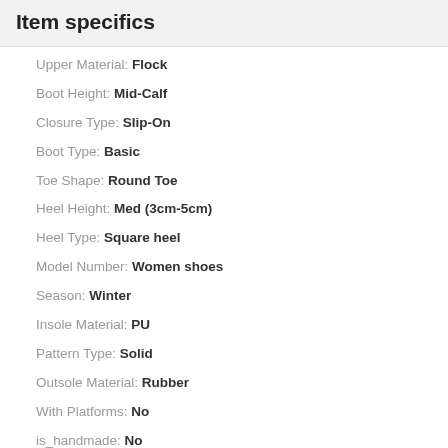Item specifics
Upper Material: Flock
Boot Height: Mid-Calf
Closure Type: Slip-On
Boot Type: Basic
Toe Shape: Round Toe
Heel Height: Med (3cm-5cm)
Heel Type: Square heel
Model Number: Women shoes
Season: Winter
Insole Material: PU
Pattern Type: Solid
Outsole Material: Rubber
With Platforms: No
is_handmade: No
Lining Material: Cotton Fabric
Shaft Material: Flock